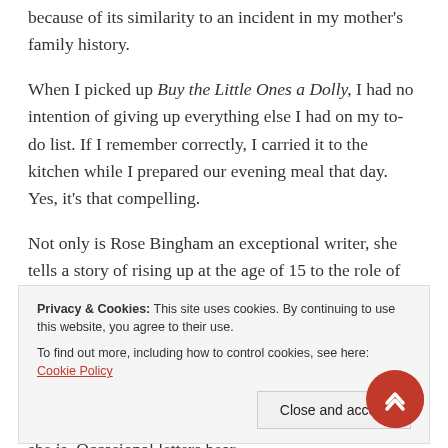because of its similarity to an incident in my mother's family history.
When I picked up Buy the Little Ones a Dolly, I had no intention of giving up everything else I had on my to-do list. If I remember correctly, I carried it to the kitchen while I prepared our evening meal that day. Yes, it's that compelling.
Not only is Rose Bingham an exceptional writer, she tells a story of rising up at the age of 15 to the role of mother of six younger siblings, a role which takes courage, strength, faith, and a
Privacy & Cookies: This site uses cookies. By continuing to use this website, you agree to their use. To find out more, including how to control cookies, see here: Cookie Policy
In addition to caring for her siblings, often in the absence of their father as well, Rose dreams of solving the mystery of her mother's disappearance and where she is. Occasional letters bear